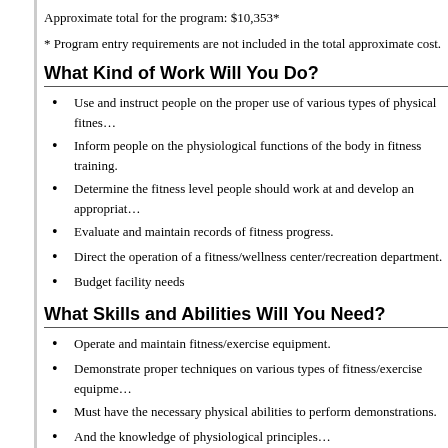Approximate total for the program: $10,353*
* Program entry requirements are not included in the total approximate cost.
What Kind of Work Will You Do?
Use and instruct people on the proper use of various types of physical fitnes…
Inform people on the physiological functions of the body in fitness training.
Determine the fitness level people should work at and develop an appropriat…
Evaluate and maintain records of fitness progress.
Direct the operation of a fitness/wellness center/recreation department.
Budget facility needs
What Skills and Abilities Will You Need?
Operate and maintain fitness/exercise equipment.
Demonstrate proper techniques on various types of fitness/exercise equipme…
Must have the necessary physical abilities to perform demonstrations.
And the knowledge of physiological principles…